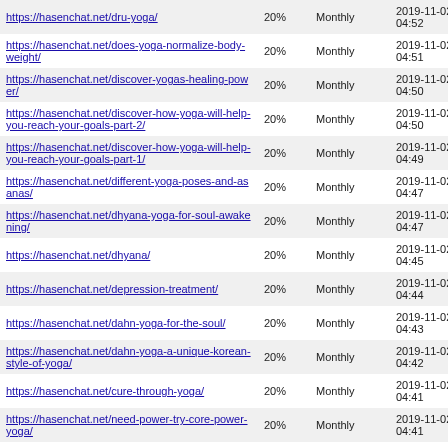| https://hasenchat.net/dru-yoga/ | 20% | Monthly | 2019-11-02 04:52 |
| https://hasenchat.net/does-yoga-normalize-body-weight/ | 20% | Monthly | 2019-11-02 04:51 |
| https://hasenchat.net/discover-yogas-healing-power/ | 20% | Monthly | 2019-11-02 04:50 |
| https://hasenchat.net/discover-how-yoga-will-help-you-reach-your-goals-part-2/ | 20% | Monthly | 2019-11-02 04:50 |
| https://hasenchat.net/discover-how-yoga-will-help-you-reach-your-goals-part-1/ | 20% | Monthly | 2019-11-02 04:49 |
| https://hasenchat.net/different-yoga-poses-and-asanas/ | 20% | Monthly | 2019-11-02 04:47 |
| https://hasenchat.net/dhyana-yoga-for-soul-awakening/ | 20% | Monthly | 2019-11-02 04:47 |
| https://hasenchat.net/dhyana/ | 20% | Monthly | 2019-11-02 04:45 |
| https://hasenchat.net/depression-treatment/ | 20% | Monthly | 2019-11-02 04:44 |
| https://hasenchat.net/dahn-yoga-for-the-soul/ | 20% | Monthly | 2019-11-02 04:43 |
| https://hasenchat.net/dahn-yoga-a-unique-korean-style-of-yoga/ | 20% | Monthly | 2019-11-02 04:42 |
| https://hasenchat.net/cure-through-yoga/ | 20% | Monthly | 2019-11-02 04:41 |
| https://hasenchat.net/need-power-try-core-power-yoga/ | 20% | Monthly | 2019-11-02 04:41 |
| https://hasenchat.net/confessions-of-a-yoga-teacher/ | 20% | Monthly | 2019-11-02 04:40 |
| https://hasenchat.net/common-mistakes-and-misunderstandings-about-yoga/ | 20% | Monthly | 2019-11-02 04:39 |
| https://hasenchat.net/common-types-of-yoga-what-is-the-difference/ | 20% | Monthly | 2019-11-02 04:37 |